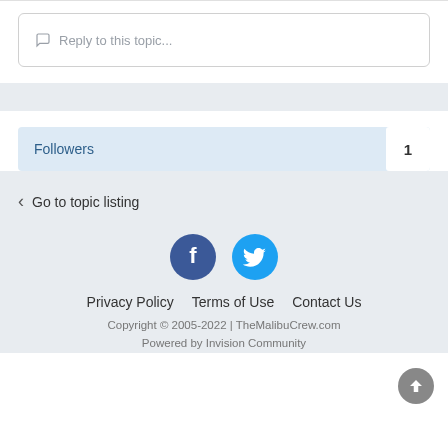Reply to this topic...
Followers  1
< Go to topic listing
[Figure (illustration): Facebook and Twitter social media icons in circular buttons]
Privacy Policy   Terms of Use   Contact Us
Copyright © 2005-2022 | TheMalibuCrew.com
Powered by Invision Community